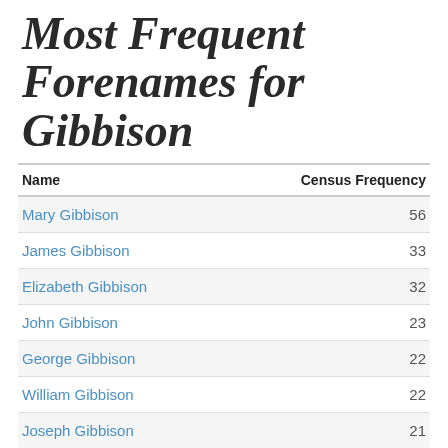Most Frequent Forenames for Gibbison
| Name | Census Frequency |
| --- | --- |
| Mary Gibbison | 56 |
| James Gibbison | 33 |
| Elizabeth Gibbison | 32 |
| John Gibbison | 23 |
| George Gibbison | 22 |
| William Gibbison | 22 |
| Joseph Gibbison | 21 |
| Thomas Gibbison | 19 |
| Jane Gibbison | 16 |